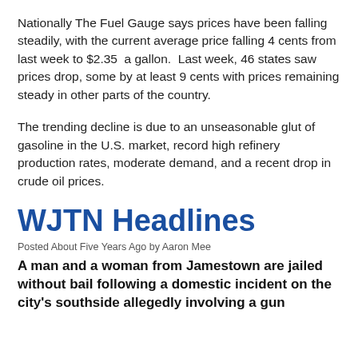Nationally The Fuel Gauge says prices have been falling steadily, with the current average price falling 4 cents from last week to $2.35  a gallon.  Last week, 46 states saw prices drop, some by at least 9 cents with prices remaining steady in other parts of the country.
The trending decline is due to an unseasonable glut of gasoline in the U.S. market, record high refinery production rates, moderate demand, and a recent drop in crude oil prices.
WJTN Headlines
Posted About Five Years Ago by Aaron Mee
A man and a woman from Jamestown are jailed without bail following a domestic incident on the city's southside allegedly involving a gun